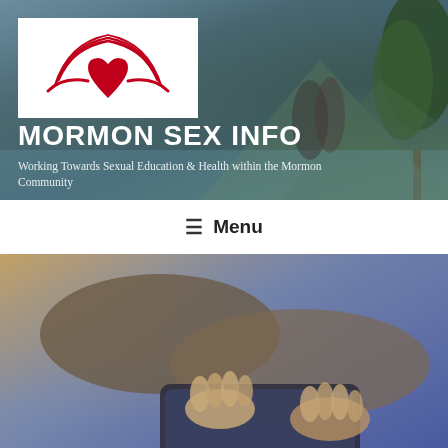[Figure (screenshot): Website header banner showing mountain/lake landscape background with a couple, white logo box with red heart-book symbol, large white bold title text MORMON SEX INFO and tagline below]
MORMON SEX INFO
Working Towards Sexual Education & Health within the Mormon Community
≡  Menu
[Figure (photo): Close-up photo of hands using a tablet device, warm blurred background tones of brown, gold and blue]